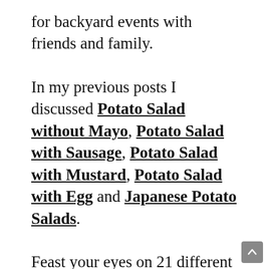for backyard events with friends and family.
In my previous posts I discussed Potato Salad without Mayo, Potato Salad with Sausage, Potato Salad with Mustard, Potato Salad with Egg and Japanese Potato Salads.
Feast your eyes on 21 different ways that you can make Potato Salad with